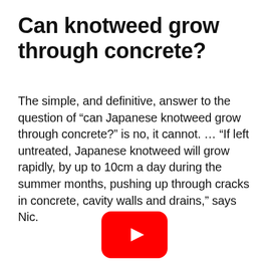Can knotweed grow through concrete?
The simple, and definitive, answer to the question of “can Japanese knotweed grow through concrete?” is no, it cannot. … “If left untreated, Japanese knotweed will grow rapidly, by up to 10cm a day during the summer months, pushing up through cracks in concrete, cavity walls and drains,” says Nic.
[Figure (other): YouTube play button icon (red rounded rectangle with white triangle)]